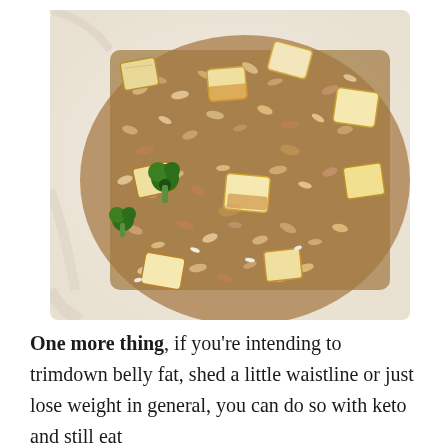[Figure (photo): Close-up photo of a plate of fried rice with tofu chunks and broccoli pieces, on a white plate.]
One more thing, if you're intending to trimdown belly fat, shed a little waistline or just lose weight in general, you can do so with keto and still eat